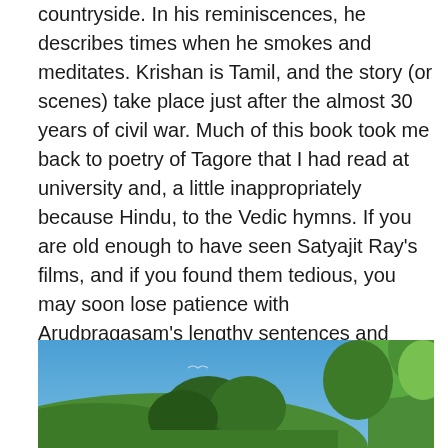countryside. In his reminiscences, he describes times when he smokes and meditates. Krishan is Tamil, and the story (or scenes) take place just after the almost 30 years of civil war. Much of this book took me back to poetry of Tagore that I had read at university and, a little inappropriately because Hindu, to the Vedic hymns. If you are old enough to have seen Satyajit Ray's films, and if you found them tedious, you may soon lose patience with Arudpragasam's lengthy sentences and paragraphs. I studied Indian philosophy at university and this has provided me with some kind of entree into this ruminant writing.
[Figure (photo): Outdoor landscape photo showing a clear blue sky with green trees and hills in the foreground, taken in a countryside or rural setting.]